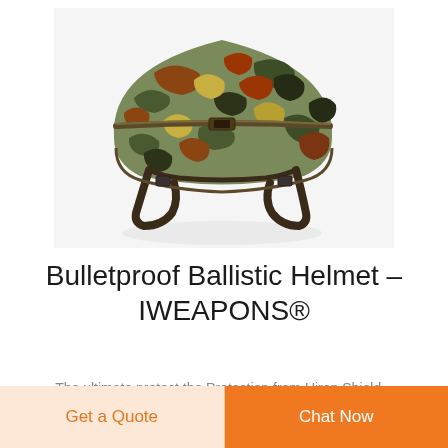[Figure (photo): Military bulletproof ballistic helmet with German Flecktarn camouflage cover and chin strap harness, shown on white background, viewed from front-side angle.]
Bulletproof Ballistic Helmet – IWEAPONS®
The ultimate protect the Protection from Uiron Shield...
Get a Quote
Chat Now